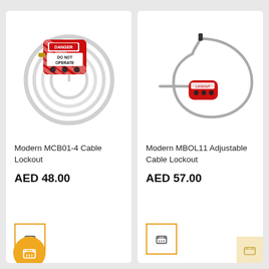[Figure (photo): Red cable lockout device (Modern MCB01-4) with white coiled cable, danger label reading DO NOT OPERATE]
Modern MCB01-4 Cable Lockout
AED 48.00
[Figure (photo): Gray adjustable cable lockout device (Modern MBOL11) with looped cable and small red body]
Modern MBOL11 Adjustable Cable Lockout
AED 57.00